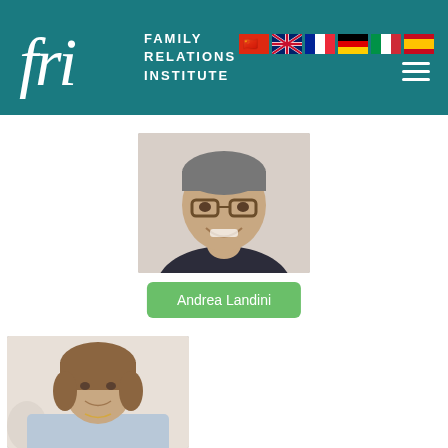[Figure (logo): Family Relations Institute logo with stylized 'fri' script and text on teal header background with country flags and hamburger menu]
[Figure (photo): Portrait photo of Andrea Landini, a middle-aged man with glasses, smiling, wearing a dark shirt]
Andrea Landini
[Figure (photo): Portrait photo of a woman with short brown hair, light blue top]